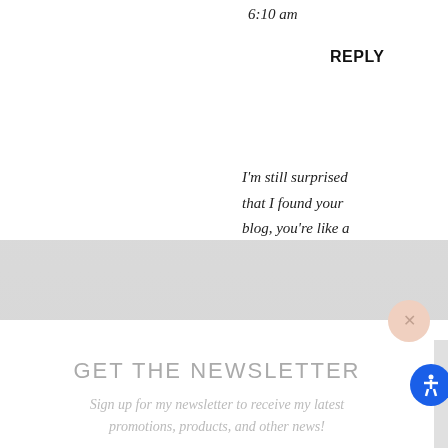6:10 am
REPLY
I'm still surprised that I found your blog, you're like a
GET THE NEWSLETTER
Sign up for my newsletter to receive my latest promotions, products, and other news!
enter your e
sign up